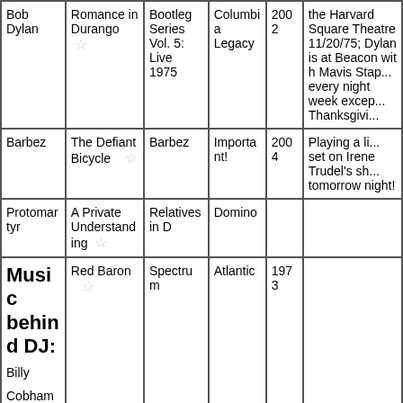| Artist | Song | Album | Label | Year | Notes |
| --- | --- | --- | --- | --- | --- |
| Bob Dylan | Romance in Durango ☆ | Bootleg Series Vol. 5: Live 1975 | Columbia Legacy | 2002 | the Harvard Square Theatre 11/20/75; Dylan is at Beacon with Mavis Stap... every night week excep... Thanksgi... |
| Barbez | The Defiant Bicycle ☆ | Barbez | Important! | 2004 | Playing a li... set on Irene Trudel's sh... tomorrow night! |
| Protomartyr | A Private Understanding ☆ | Relatives in D | Domino |  |  |
| Music behind DJ: Billy Cobham | Red Baron ☆ | Spectrum | Atlantic | 1973 |  |
| Kamasi | The Next Step |  |  |  | At Termina... |